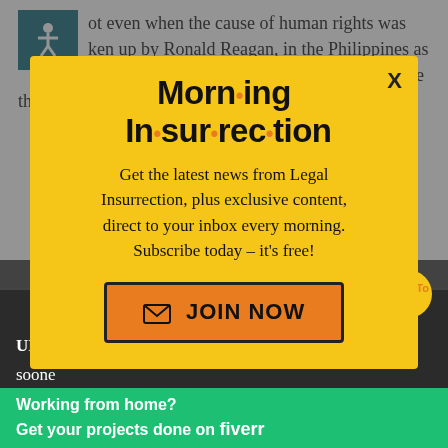ot even when the cause of human rights was ken up by Ronald Reagan, in the Philippines as well as against the Soviets, did liberals declare that we should be indifferent to the
[Figure (infographic): Morning Insurrection newsletter signup modal popup with yellow background. Title reads 'Morn·ing In·sur·rec·tion' in bold black with orange dots. Body text: 'Get the latest news from Legal Insurrection, plus exclusive content, direct to your inbox every morning. Subscribe today – it's free!' Orange JOIN NOW button with envelope icon. X close button top right.]
UPDATE No. 2: This is too good for words. No sooner Iranian regime announced that there would no
[Figure (infographic): Fiverr advertisement banner with green background. Text: 'Working from home? Get your projects done on fiverr' in white bold text.]